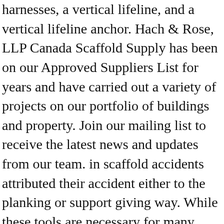harnesses, a vertical lifeline, and a vertical lifeline anchor. Hach & Rose, LLP Canada Scaffold Supply has been on our Approved Suppliers List for years and have carried out a variety of projects on our portfolio of buildings and property. Join our mailing list to receive the latest news and updates from our team. in scaffold accidents attributed their accident either to the planking or support giving way. While these tools are necessary for many building and construction projects, they are inherently dangerous and are one of the most common reasons for injuries on construction sites. Erect barricades to prevent individuals from walking under work platforms and place signs to warn those close by of the possible hazards. Scaffolding accidents usually occur because: … as 35% of all construction site fatalities are attributed to falls. Before… 3. Scaffolds